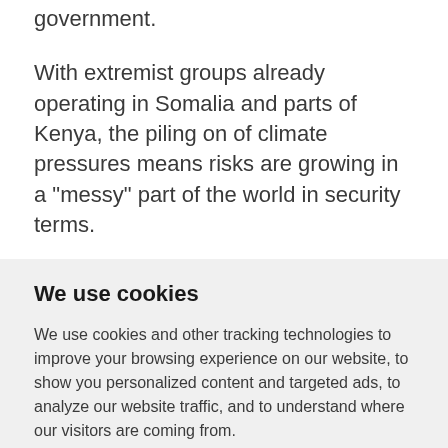government.
With extremist groups already operating in Somalia and parts of Kenya, the piling on of climate pressures means risks are growing in a "messy" part of the world in security terms.
We use cookies
We use cookies and other tracking technologies to improve your browsing experience on our website, to show you personalized content and targeted ads, to analyze our website traffic, and to understand where our visitors are coming from.